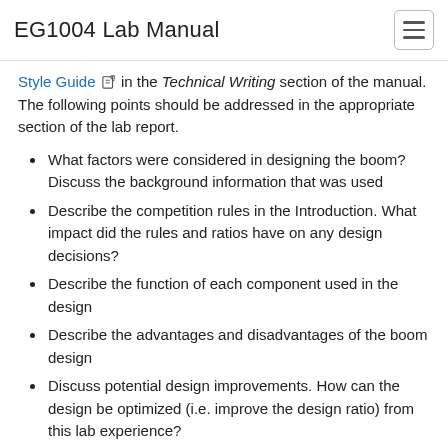EG1004 Lab Manual
Style Guide [icon] in the Technical Writing section of the manual. The following points should be addressed in the appropriate section of the lab report.
What factors were considered in designing the boom? Discuss the background information that was used
Describe the competition rules in the Introduction. What impact did the rules and ratios have on any design decisions?
Describe the function of each component used in the design
Describe the advantages and disadvantages of the boom design
Discuss potential design improvements. How can the design be optimized (i.e. improve the design ratio) from this lab experience?
Which elements of the boom were stressed by the load? Describe the load's direction and if the load contributed s to the failure?
Include the Excel spreadsheet with all the boom designs in the class. Discuss other designs in the class
Contribution Statement